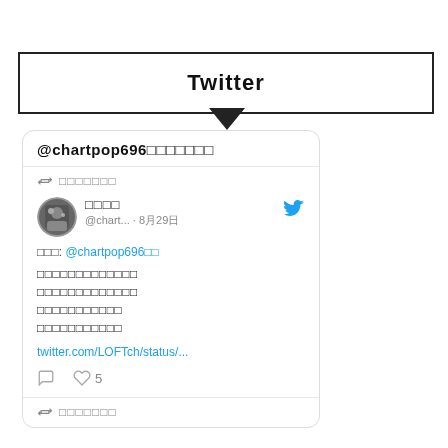Twitter
[Figure (screenshot): A Twitter/social media screenshot showing a tweet from @chartpop696 with Japanese text, a profile image, retweet icon, like count of 5, and a link to twitter.com/LOFTch/status/...]
@chartpop696チャートポップ
リツイートしました
チャートポップ
@chart... ・ 8月29日
山山山: @chartpop696山山
チャートポップチャートポップチャートポップチャートポップチャートポップチャートポップチャートポップチャートポップチャートポップチャートポップチャートポップチャートポップチャートポップチャートポップチャートポップチャートポップチャートポップチャートポップ
twitter.com/LOFTch/status/...
5